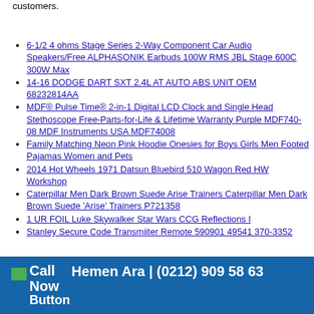customers.
6-1/2 4 ohms Stage Series 2-Way Component Car Audio Speakers/Free ALPHASONIK Earbuds 100W RMS JBL Stage 600C 300W Max
14-16 DODGE DART SXT 2.4L AT AUTO ABS UNIT OEM 68232814AA
MDF® Pulse Time® 2-in-1 Digital LCD Clock and Single Head Stethoscope Free-Parts-for-Life & Lifetime Warranty Purple MDF740-08 MDF Instruments USA MDF74008
Family Matching Neon Pink Hoodie Onesies for Boys Girls Men Footed Pajamas Women and Pets
2014 Hot Wheels 1971 Datsun Bluebird 510 Wagon Red HW Workshop
Caterpillar Men Dark Brown Suede Arise Trainers Caterpillar Men Dark Brown Suede 'Arise' Trainers P721358
1 UR FOIL Luke Skywalker Star Wars CCG Reflections I
Stanley Secure Code Transmiiter Remote 590901 49541 370-3352
Call Now Hemen Ara | (0212) 909 58 63 Button